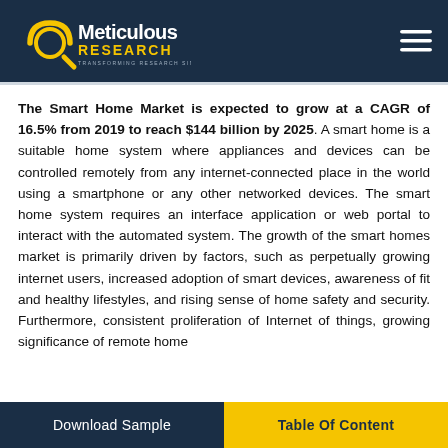Meticulous Research
The Smart Home Market is expected to grow at a CAGR of 16.5% from 2019 to reach $144 billion by 2025. A smart home is a suitable home system where appliances and devices can be controlled remotely from any internet-connected place in the world using a smartphone or any other networked devices. The smart home system requires an interface application or web portal to interact with the automated system. The growth of the smart homes market is primarily driven by factors, such as perpetually growing internet users, increased adoption of smart devices, awareness of fit and healthy lifestyles, and rising sense of home safety and security. Furthermore, consistent proliferation of Internet of things, growing significance of remote home
Download Sample | Table Of Content